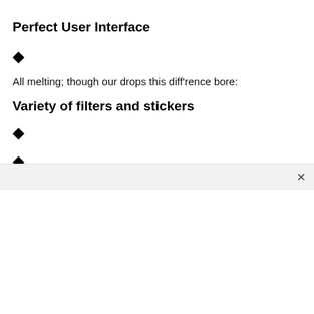Perfect User Interface
◆
All melting; though our drops this diff'rence bore:
Variety of filters and stickers
◆
◆